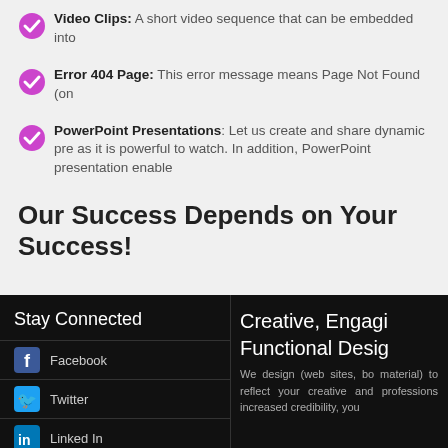Video Clips: A short video sequence that can be embedded into…
Error 404 Page: This error message means Page Not Found (on…
PowerPoint Presentations: Let us create and share dynamic pre… as it is powerful to watch. In addition, PowerPoint presentation enable…
Our Success Depends on Your Success!
Stay Connected
Facebook
Twitter
Linked In
Creative, Engagi…
Functional Desig…
We design (web sites, bo… material) to reflect your… creative and professions… increased credibility, you…